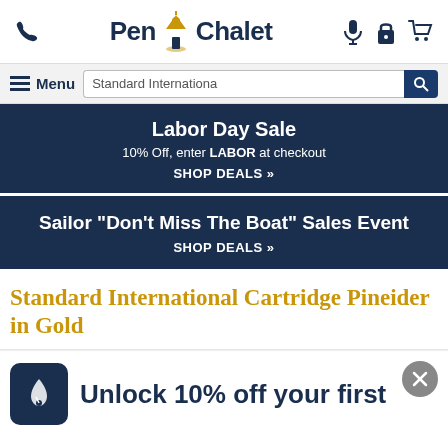Pen Chalet
Menu | Standard Internationa [search bar]
Labor Day Sale
10% Off, enter LABOR at checkout
SHOP DEALS »
Sailor "Don't Miss The Boat" Sales Event
SHOP DEALS »
Standard International Cartridge Pineider in Gold
Unlock 10% off your first